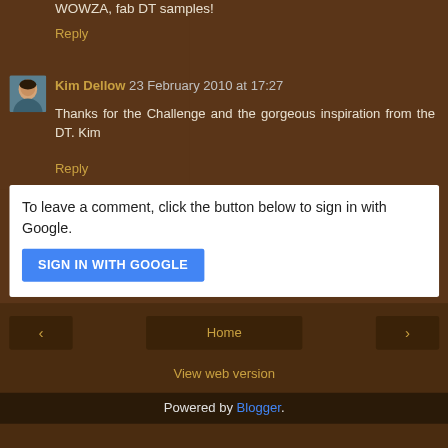WOWZA, fab DT samples!
Reply
Kim Dellow 23 February 2010 at 17:27
Thanks for the Challenge and the gorgeous inspiration from the DT. Kim
Reply
To leave a comment, click the button below to sign in with Google.
SIGN IN WITH GOOGLE
Home
View web version
Powered by Blogger.